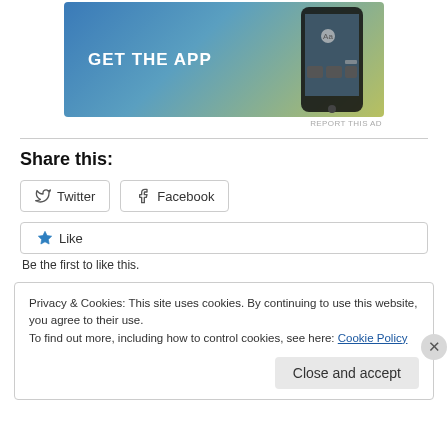[Figure (screenshot): App advertisement banner with 'GET THE APP' text on blue-green gradient background with phone mockup on right side]
REPORT THIS AD
Share this:
Twitter Facebook
Like
Be the first to like this.
Privacy & Cookies: This site uses cookies. By continuing to use this website, you agree to their use.
To find out more, including how to control cookies, see here: Cookie Policy
Close and accept